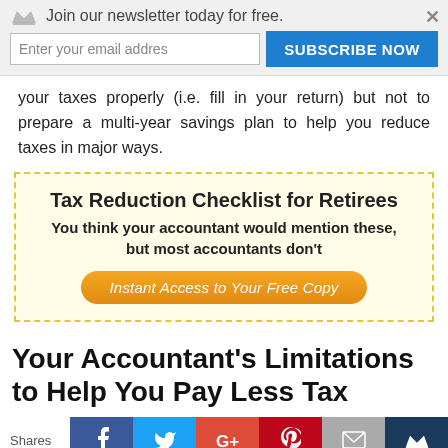[Figure (other): Newsletter signup banner with crown icon, tagline 'Join our newsletter today for free.', email input field, and blue SUBSCRIBE NOW button with a close X button]
your taxes properly (i.e. fill in your return) but not to prepare a multi-year savings plan to help you reduce taxes in major ways.
[Figure (infographic): Promotional box with dashed yellow border and light yellow background. Title: 'Tax Reduction Checklist for Retirees'. Subtitle: 'You think your accountant would mention these, but most accountants don't'. Button: 'Instant Access to Your Free Copy']
Your Accountant's Limitations to Help You Pay Less Tax
[Figure (other): Social sharing bar with Shares label and icons for Facebook, Twitter, Google+, Pinterest, Email, and crown/bookmark]